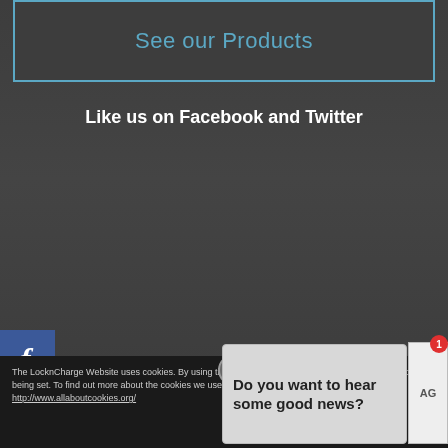See our Products
Like us on Facebook and Twitter
[Figure (illustration): Facebook social media side button with 'f' icon in blue]
[Figure (illustration): Twitter social media side button with bird icon in light blue]
The LocknCharge Website uses cookies. By using the LocknCharge website you agree to these cookies being set. To find out more about the cookies we use and find out further information at http://www.allaboutcookies.org/
Do you want to hear some good news?